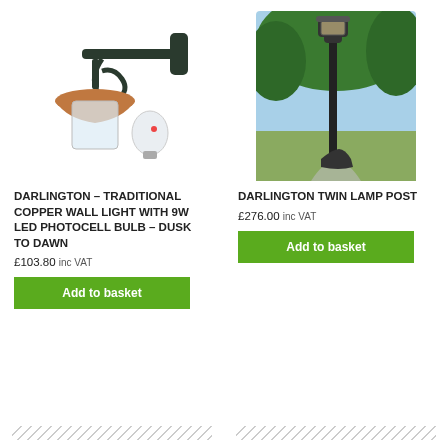[Figure (photo): Darlington traditional copper wall light with decorative black bracket and 9W LED photocell bulb shown separately]
[Figure (photo): Darlington twin lamp post in black, tall post with lantern top, shown in outdoor garden setting]
DARLINGTON – TRADITIONAL COPPER WALL LIGHT WITH 9W LED PHOTOCELL BULB – DUSK TO DAWN
£103.80 inc VAT
Add to basket
DARLINGTON TWIN LAMP POST
£276.00 inc VAT
Add to basket